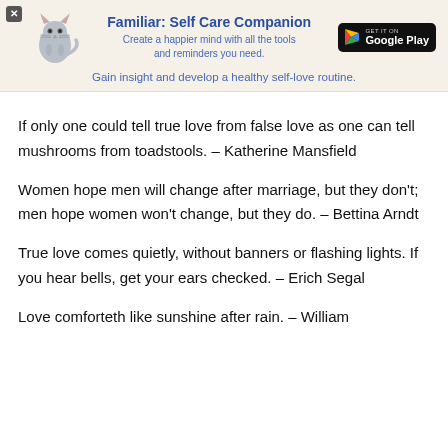[Figure (logo): App advertisement banner: Familiar: Self Care Companion with cat logo and Google Play button]
If only one could tell true love from false love as one can tell mushrooms from toadstools. – Katherine Mansfield
Women hope men will change after marriage, but they don't; men hope women won't change, but they do. – Bettina Arndt
True love comes quietly, without banners or flashing lights. If you hear bells, get your ears checked. – Erich Segal
Love comforteth like sunshine after rain. – William